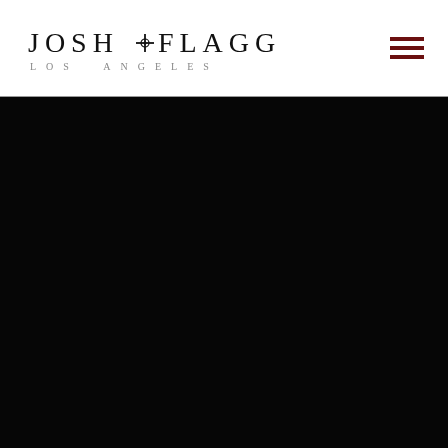[Figure (logo): Josh Flagg Los Angeles logo — stylized serif text 'JOSH F FLAGG' with a decorative cross between F and FLAGG, subtitle 'LOS ANGELES' in spaced capitals]
[Figure (other): Hamburger menu icon — three dark red horizontal bars]
[Figure (photo): Large dark/black area below the header divider, appears to be a nearly black photograph or dark background]